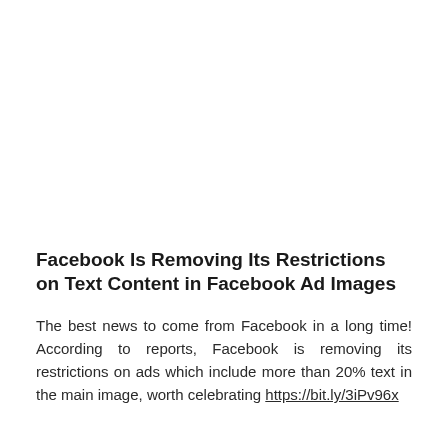Facebook Is Removing Its Restrictions on Text Content in Facebook Ad Images
The best news to come from Facebook in a long time! According to reports, Facebook is removing its restrictions on ads which include more than 20% text in the main image, worth celebrating https://bit.ly/3iPv96x